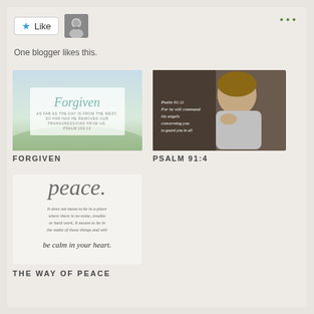[Figure (screenshot): Like button with blue star and avatar icon]
One blogger likes this.
[Figure (illustration): Forgiven - inspirational image with soft sky background and text: AS FAR AS THE DAY IS FROM THE WEST, SO FAR HAS HE REMOVED OUR TRANSGRESSIONS FROM US. PSALM 103:12]
FORGIVEN
[Figure (photo): Psalm 91:11 - photo of child praying with text overlay: Psalm 91:11 For he will command his angels concerning you to guard you in all]
PSALM 91:4
[Figure (illustration): Peace - It does not mean to be in a place where there is no noise, trouble or hard work. It means to be in the midst of those things and still be calm in your heart.]
THE WAY OF PEACE